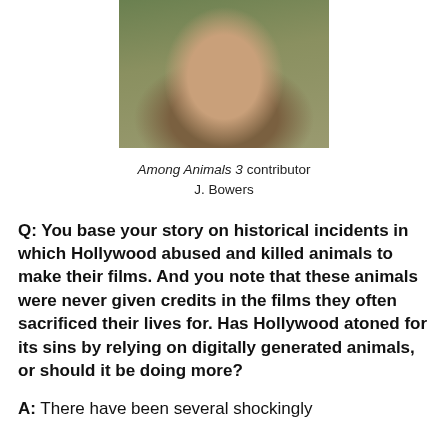[Figure (photo): Portrait photo of a woman with short brown hair, looking slightly to the side, outdoors with green background.]
Among Animals 3 contributor
J. Bowers
Q: You base your story on historical incidents in which Hollywood abused and killed animals to make their films. And you note that these animals were never given credits in the films they often sacrificed their lives for. Has Hollywood atoned for its sins by relying on digitally generated animals, or should it be doing more?
A: There have been several shockingly